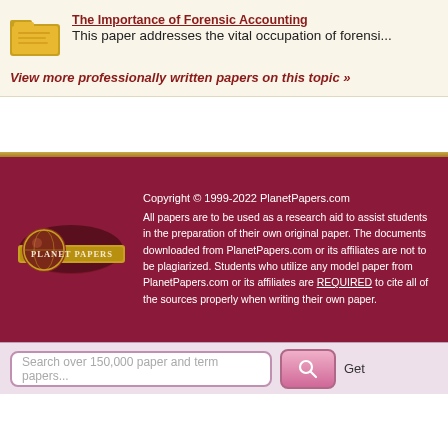The Importance of Forensic Accounting
This paper addresses the vital occupation of forensi...
View more professionally written papers on this topic »
[Figure (logo): PlanetPapers.com logo with globe and banner]
Copyright © 1999-2022 PlanetPapers.com
All papers are to be used as a research aid to assist students in the preparation of their own original paper. The documents downloaded from PlanetPapers.com or its affiliates are not to be plagiarized. Students who utilize any model paper from PlanetPapers.com or its affiliates are REQUIRED to cite all of the sources properly when writing their own paper.
Search over 150,000 paper and term papers...
Get